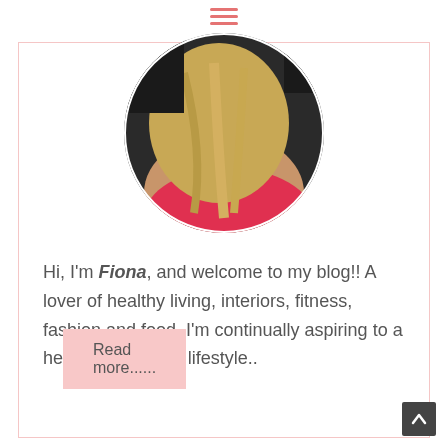[Figure (photo): Circular profile photo of a blonde woman wearing a red top]
Hi, I'm Fiona, and welcome to my blog!! A lover of healthy living, interiors, fitness, fashion and food. I'm continually aspiring to a healthy, balanced lifestyle..
Read more......